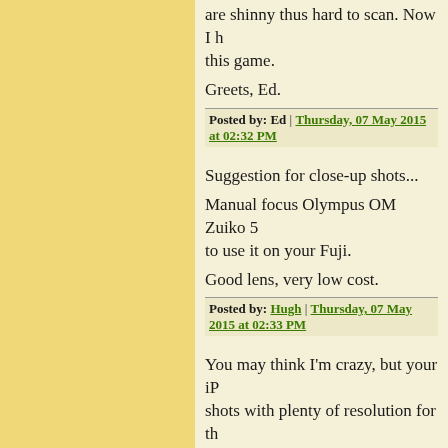are shinny thus hard to scan. Now I [have] this game.
Greets, Ed.
Posted by: Ed | Thursday, 07 May 2015 at 02:32 PM
Suggestion for close-up shots...
Manual focus Olympus OM Zuiko 5[0mm...] to use it on your Fuji.
Good lens, very low cost.
Posted by: Hugh | Thursday, 07 May 2015 at 02:33 PM
You may think I'm crazy, but your iP[hone takes] shots with plenty of resolution for th[is kind of work] for close up work. You are trying to [understand] why buy another.
Posted by: Edward Taylor | Thursday, 07 May 2015 at [time]